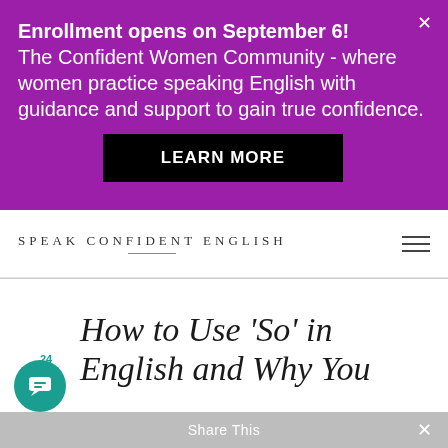[Figure (screenshot): Purple promotional banner for 'The Confident Women Community' with enrollment announcement and 'LEARN MORE' button. Close (X) button in top right.]
SPEAK CONFIDENT ENGLISH
How to Use ‘So’ in English and Why You